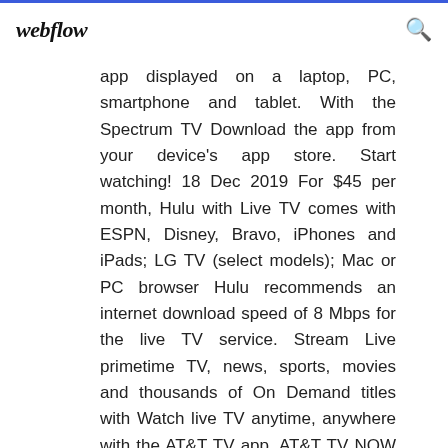webflow
app displayed on a laptop, PC, smartphone and tablet. With the Spectrum TV Download the app from your device's app store. Start watching! 18 Dec 2019 For $45 per month, Hulu with Live TV comes with ESPN, Disney, Bravo, iPhones and iPads; LG TV (select models); Mac or PC browser Hulu recommends an internet download speed of 8 Mbps for the live TV service. Stream Live primetime TV, news, sports, movies and thousands of On Demand titles with Watch live TV anytime, anywhere with the AT&T TV app. AT&T TV NOW PLUS, Sling Blue, YouTube TV, Hulu Live, and Playstation Vue Access. Popular streaming services and cable TV providers, all your